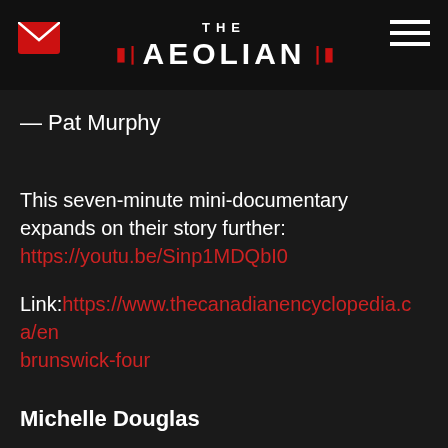THE AEOLIAN
— Pat Murphy
This seven-minute mini-documentary expands on their story further: https://youtu.be/Sinp1MDQbI0
Link: https://www.thecanadianencyclopedia.ca/en/brunswick-four
Michelle Douglas